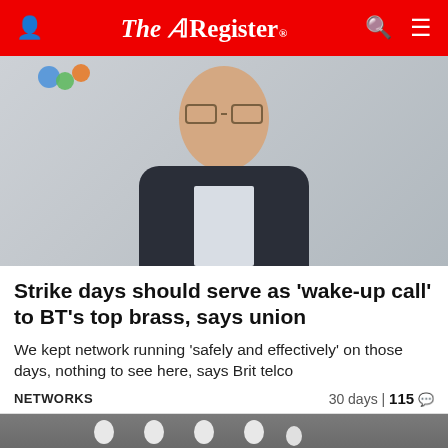The Register
[Figure (photo): Photo of a middle-aged man with glasses, wearing a dark suit jacket and light shirt, smiling, with a partial BT logo visible in the upper left background. Light grey background.]
Strike days should serve as 'wake-up call' to BT's top brass, says union
We kept network running 'safely and effectively' on those days, nothing to see here, says Brit telco
NETWORKS   30 days | 115 💬
[Figure (photo): Photo showing paper cut-out figures of people holding hands, being held by a hand on the right side. Grey background.]